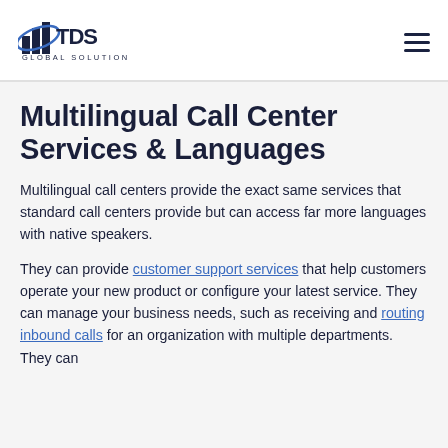[Figure (logo): TDS Global Solutions logo with bar chart icon and orbital arc graphic]
Multilingual Call Center Services & Languages
Multilingual call centers provide the exact same services that standard call centers provide but can access far more languages with native speakers.
They can provide customer support services that help customers operate your new product or configure your latest service. They can manage your business needs, such as receiving and routing inbound calls for an organization with multiple departments. They can